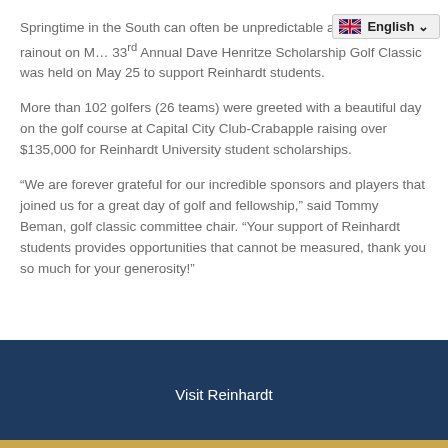Springtime in the South can often be unpredictable and after a rainout on M… 33rd Annual Dave Henritze Scholarship Golf Classic was held on May 25 to support Reinhardt students.
More than 102 golfers (26 teams) were greeted with a beautiful day on the golf course at Capital City Club-Crabapple raising over $135,000 for Reinhardt University student scholarships.
“We are forever grateful for our incredible sponsors and players that joined us for a great day of golf and fellowship,” said Tommy Beman, golf classic committee chair. “Your support of Reinhardt students provides opportunities that cannot be measured, thank you so much for your generosity!”
Visit Reinhardt